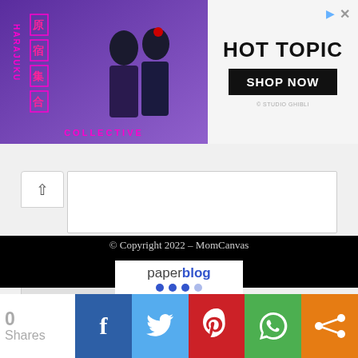[Figure (photo): Hot Topic advertisement banner featuring Harajuku Collective branding on the left with two people in purple/black anime-style clothing, and Hot Topic logo with 'SHOP NOW' button and Studio Ghibli text on the right. Play and close icons in top right corner.]
[Figure (screenshot): Comment form area with an up-arrow button and text area for comments.]
Notify me of new posts by email.
POST COMMENT
© Copyright 2022 – MomCanvas
[Figure (logo): Paperblog badge/logo in white box showing 'paperblog' text with colored dots]
0 Shares
[Figure (other): Social sharing bar with Facebook, Twitter, Pinterest, WhatsApp, and generic share buttons]